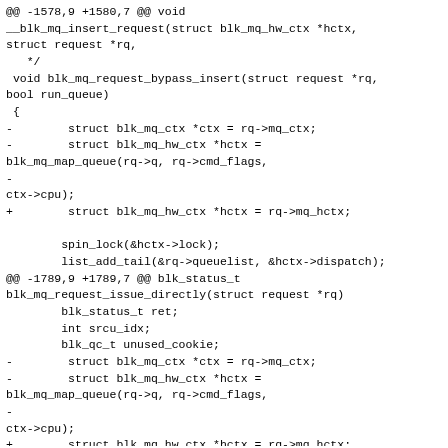@@ -1578,9 +1580,7 @@ void
__blk_mq_insert_request(struct blk_mq_hw_ctx *hctx,
struct request *rq,
   */
 void blk_mq_request_bypass_insert(struct request *rq,
bool run_queue)
 {
-        struct blk_mq_ctx *ctx = rq->mq_ctx;
-        struct blk_mq_hw_ctx *hctx =
blk_mq_map_queue(rq->q, rq->cmd_flags,
-
ctx->cpu);
+        struct blk_mq_hw_ctx *hctx = rq->mq_hctx;

        spin_lock(&hctx->lock);
        list_add_tail(&rq->queuelist, &hctx->dispatch);
@@ -1789,9 +1789,7 @@ blk_status_t
blk_mq_request_issue_directly(struct request *rq)
        blk_status_t ret;
        int srcu_idx;
        blk_qc_t unused_cookie;
-        struct blk_mq_ctx *ctx = rq->mq_ctx;
-        struct blk_mq_hw_ctx *hctx =
blk_mq_map_queue(rq->q, rq->cmd_flags,
-
ctx->cpu);
+        struct blk_mq_hw_ctx *hctx = rq->mq_hctx;

        hctx_lock(hctx, &srcu_idx);
        ret = __blk_mq_try_issue_directly(hctx, rq,